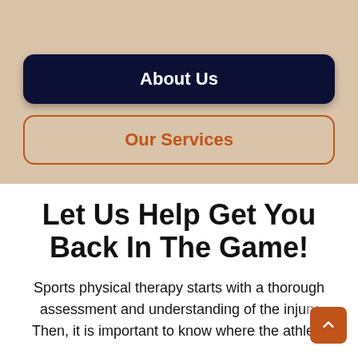About Us
Our Services
Let Us Help Get You Back In The Game!
Sports physical therapy starts with a thorough assessment and understanding of the injury. Then, it is important to know where the athlete